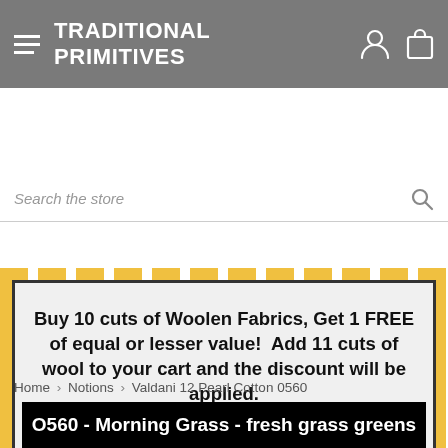TRADITIONAL PRIMITIVES
Search the store
Buy 10 cuts of Woolen Fabrics, Get 1 FREE of equal or lesser value!  Add 11 cuts of wool to your cart and the discount will be applied. Click Here!
Home > Notions > Valdani 12 Pearl Cotton 0560
[Figure (photo): Product image banner with text: O560 - Morning Grass - fresh grass greens on black background]